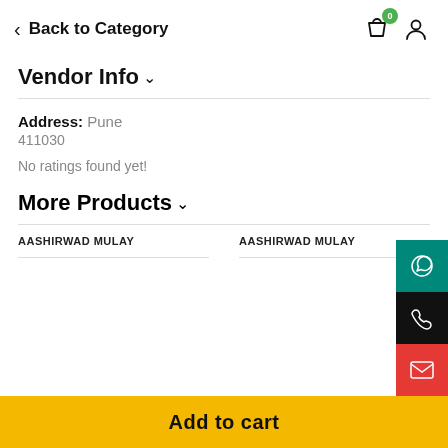Back to Category
Vendor Info
Address: Pune
411030
No ratings found yet!
More Products
AASHIRWAD MULAY    AASHIRWAD MULAY
Add to cart